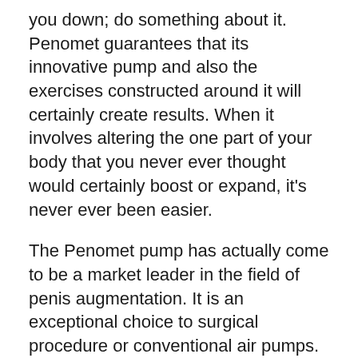you down; do something about it. Penomet guarantees that its innovative pump and also the exercises constructed around it will certainly create results. When it involves altering the one part of your body that you never ever thought would certainly boost or expand, it’s never ever been easier.
The Penomet pump has actually come to be a market leader in the field of penis augmentation. It is an exceptional choice to surgical procedure or conventional air pumps.
WHAT IS THE PENOMET PENIS PUMP?
The Penomet pump is a cutting edge device. Since it is easy as well as reliable, it has